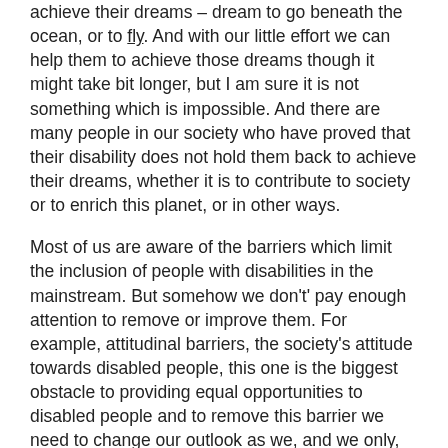achieve their dreams – dream to go beneath the ocean, or to fly. And with our little effort we can help them to achieve those dreams though it might take bit longer, but I am sure it is not something which is impossible. And there are many people in our society who have proved that their disability does not hold them back to achieve their dreams, whether it is to contribute to society or to enrich this planet, or in other ways.
Most of us are aware of the barriers which limit the inclusion of people with disabilities in the mainstream. But somehow we don't' pay enough attention to remove or improve them. For example, attitudinal barriers, the society's attitude towards disabled people, this one is the biggest obstacle to providing equal opportunities to disabled people and to remove this barrier we need to change our outlook as we, and we only, can help to eliminate this barrier. Environmental barriers, such as inaccessible buildings, also restrict people with disabilities to participate in mainstream society. Further, institutional barriers, like many policies, strategies and laws, are also a hindrance for which we all must work together to raise awareness and force the government to do something.
Along with day to day struggles another problem which a